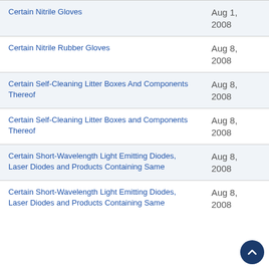| Case Name | Date |
| --- | --- |
| Certain Nitrile Gloves | Aug 1, 2008 |
| Certain Nitrile Rubber Gloves | Aug 8, 2008 |
| Certain Self-Cleaning Litter Boxes And Components Thereof | Aug 8, 2008 |
| Certain Self-Cleaning Litter Boxes and Components Thereof | Aug 8, 2008 |
| Certain Short-Wavelength Light Emitting Diodes, Laser Diodes and Products Containing Same | Aug 8, 2008 |
| Certain Short-Wavelength Light Emitting Diodes, Laser Diodes and Products Containing Same | Aug 8, 2008 |